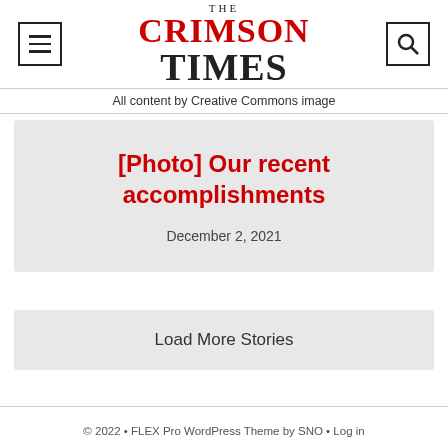THE CRIMSON TIMES
All content by Creative Commons image
[Photo] Our recent accomplishments
December 2, 2021
Load More Stories
© 2022 • FLEX Pro WordPress Theme by SNO • Log in